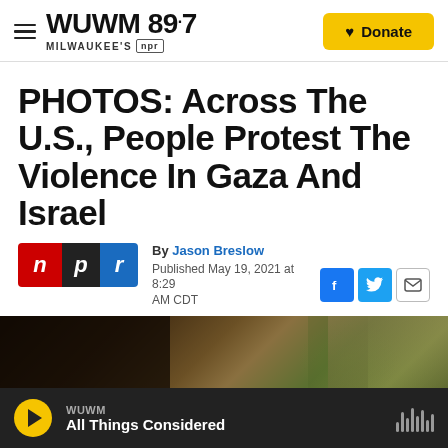WUWM 89.7 Milwaukee's NPR — Donate
PHOTOS: Across The U.S., People Protest The Violence In Gaza And Israel
By Jason Breslow
Published May 19, 2021 at 8:29 AM CDT
[Figure (photo): Partial photo of a protest scene, dark and blurred background with green foliage visible]
WUWM — All Things Considered